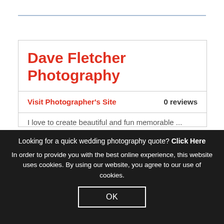Dave Fletcher Photography
Visit Photographer's Site   0 reviews
Looking for a quick wedding photography quote? Click Here
In order to provide you with the best online experience, this website uses cookies. By using our website, you agree to our use of cookies.
OK